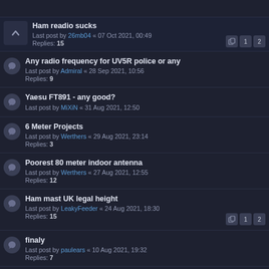Ham readio sucks
Last post by 26mb04 « 07 Oct 2021, 00:49
Replies: 15
Any radio frequency for UV5R police or any
Last post by Admiral « 28 Sep 2021, 10:56
Replies: 9
Yaesu FT891 - any good?
Last post by MiXiN « 31 Aug 2021, 12:50
6 Meter Projects
Last post by Werthers « 29 Aug 2021, 23:14
Replies: 3
Poorest 80 meter indoor antenna
Last post by Werthers « 27 Aug 2021, 12:55
Replies: 12
Ham mast UK legal height
Last post by LeakyFeeder « 24 Aug 2021, 18:30
Replies: 15
finaly
Last post by paulears « 10 Aug 2021, 19:32
Replies: 7
x50 Antenna vs half wave dipole
Last post by Werthers « 10 Aug 2021, 12:16